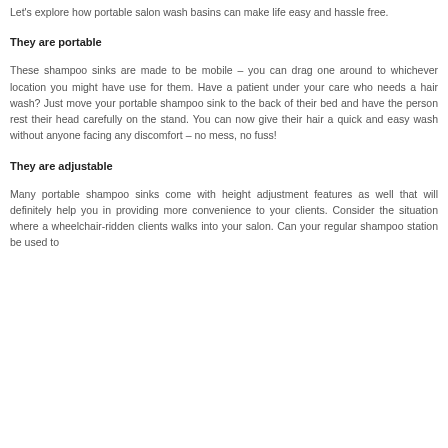Let's explore how portable salon wash basins can make life easy and hassle free.
They are portable
These shampoo sinks are made to be mobile – you can drag one around to whichever location you might have use for them. Have a patient under your care who needs a hair wash? Just move your portable shampoo sink to the back of their bed and have the person rest their head carefully on the stand. You can now give their hair a quick and easy wash without anyone facing any discomfort – no mess, no fuss!
They are adjustable
Many portable shampoo sinks come with height adjustment features as well that will definitely help you in providing more convenience to your clients. Consider the situation where a wheelchair-ridden clients walks into your salon. Can your regular shampoo station be used to